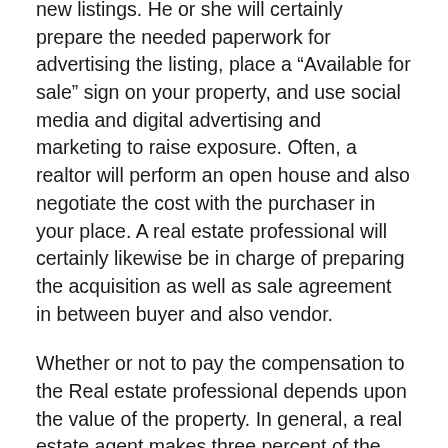new listings. He or she will certainly prepare the needed paperwork for advertising the listing, place a “Available for sale” sign on your property, and use social media and digital advertising and marketing to raise exposure. Often, a realtor will perform an open house and also negotiate the cost with the purchaser in your place. A real estate professional will certainly likewise be in charge of preparing the acquisition as well as sale agreement in between buyer and also vendor.
Whether or not to pay the compensation to the Real estate professional depends upon the value of the property. In general, a real estate agent makes three percent of the acquisition price, as well as he or she will accept a reduced commission if the home is a good investment. If you expect your residential or commercial property to take a long period of time to sell, you may need to pay a higher compensation. It is therefore crucial to